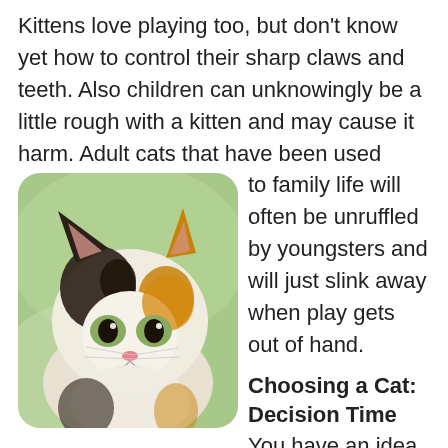Kittens love playing too, but don't know yet how to control their sharp claws and teeth. Also children can unknowingly be a little rough with a kitten and may cause it harm. Adult cats that have been used to family life will often be unruffled by youngsters and will just slink away when play gets out of hand.
[Figure (photo): Close-up photo of a calico kitten with large eyes, white, black, and orange fur, against a blurred green background]
Choosing a Cat: Decision Time
You have an idea of the sort of cat that you want, you have decided between an adult cat or a kitten, and you have